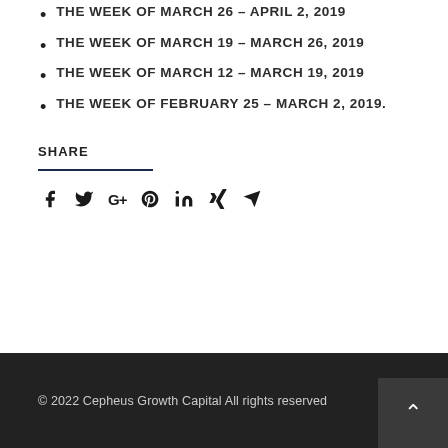THE WEEK OF MARCH 26 – APRIL 2, 2019
THE WEEK OF MARCH 19 – MARCH 26, 2019
THE WEEK OF MARCH 12 – MARCH 19, 2019
THE WEEK OF FEBRUARY 25 – MARCH 2, 2019.
SHARE
[Figure (other): Social share icons: Facebook, Twitter, Google+, Pinterest, LinkedIn, Xing, Email/Telegram]
© 2022 Cepheus Growth Capital All rights reserved